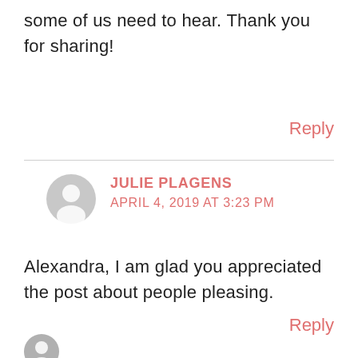some of us need to hear. Thank you for sharing!
Reply
JULIE PLAGENS
APRIL 4, 2019 AT 3:23 PM
Alexandra, I am glad you appreciated the post about people pleasing.
Reply